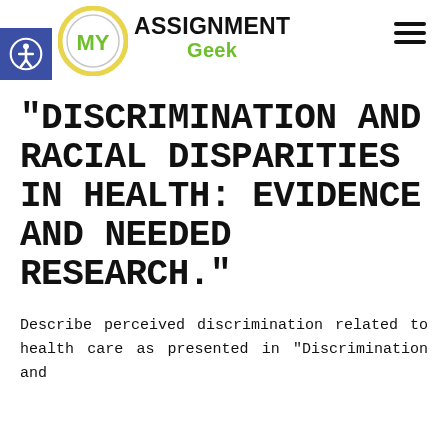[Figure (logo): My Assignment Geek logo with accessibility icon, circular MY logo badge, ASSIGNMENT GEEK text, and hamburger menu icon]
“DISCRIMINATION AND RACIAL DISPARITIES IN HEALTH: EVIDENCE AND NEEDED RESEARCH.”
Describe perceived discrimination related to health care as presented in “Discrimination and